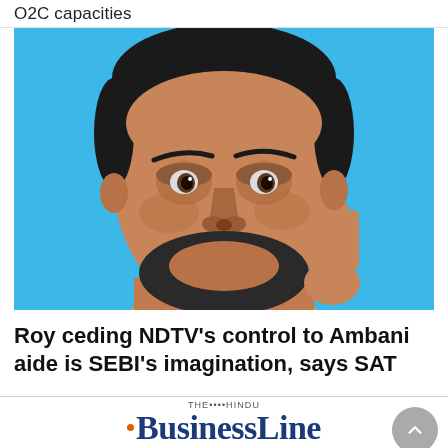O2C capacities
[Figure (photo): Close-up portrait photo of a middle-aged man with dark hair, beard and mustache, resting his right hand against his cheek, against a blue background]
Roy ceding NDTV's control to Ambani aide is SEBI's imagination, says SAT
[Figure (logo): The Hindu BusinessLine logo — 'THE HINDU' in small text above, then 'BusinessLine' in large bold serif navy blue text with an orange dot]